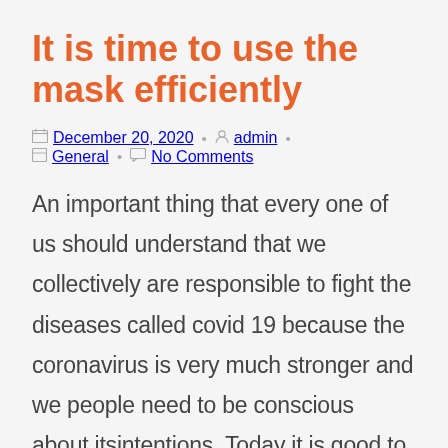It is time to use the mask efficiently
December 20, 2020 · admin · General · No Comments
An important thing that every one of us should understand that we collectively are responsible to fight the diseases called covid 19 because the coronavirus is very much stronger and we people need to be conscious about itsintentions. Today it is good to